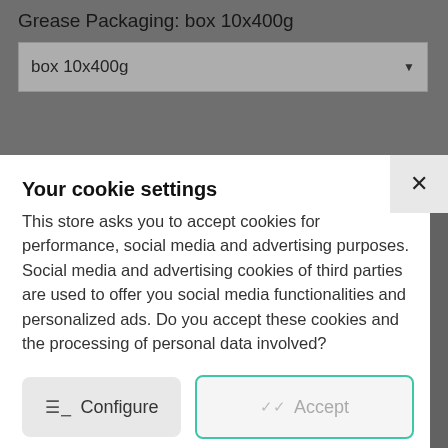Grease Packaging: box 10x400g
Your cookie settings
This store asks you to accept cookies for performance, social media and advertising purposes. Social media and advertising cookies of third parties are used to offer you social media functionalities and personalized ads. Do you accept these cookies and the processing of personal data involved?
Configure
Accept
Privacy & Cookie Policy
Cookie declaration last updated on: 2022-08-08